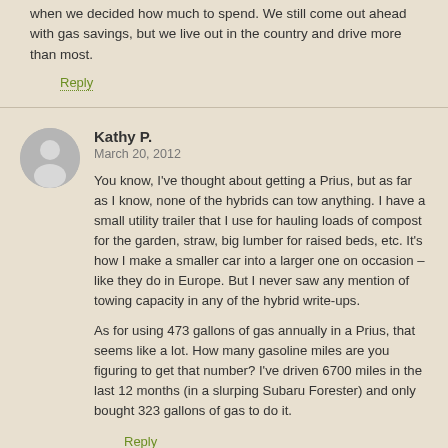when we decided how much to spend. We still come out ahead with gas savings, but we live out in the country and drive more than most.
Reply
Kathy P.
March 20, 2012
You know, I've thought about getting a Prius, but as far as I know, none of the hybrids can tow anything. I have a small utility trailer that I use for hauling loads of compost for the garden, straw, big lumber for raised beds, etc. It's how I make a smaller car into a larger one on occasion – like they do in Europe. But I never saw any mention of towing capacity in any of the hybrid write-ups.

As for using 473 gallons of gas annually in a Prius, that seems like a lot. How many gasoline miles are you figuring to get that number? I've driven 6700 miles in the last 12 months (in a slurping Subaru Forester) and only bought 323 gallons of gas to do it.
Reply
Clint